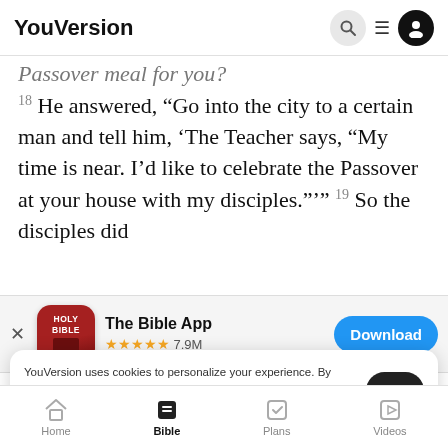YouVersion
Passover meal for you?
18 He answered, “Go into the city to a certain man and tell him, ‘The Teacher says, “My time is near. I’d like to celebrate the Passover at your house with my disciples.”’” 19 So the disciples did
[Figure (screenshot): The Bible App install banner with Holy Bible app icon, 5-star rating 7.9M reviews, and Download button]
ver meal
20 Wi
with his
YouVersion uses cookies to personalize your experience. By using our website, you accept our use of cookies as described in our Privacy Policy.
Home  Bible  Plans  Videos